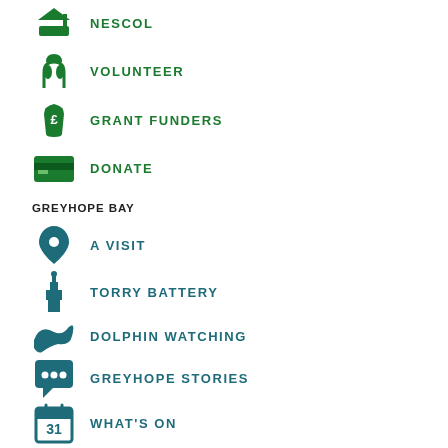NESCOL
VOLUNTEER
GRANT FUNDERS
DONATE
GREYHOPE BAY
A VISIT
TORRY BATTERY
DOLPHIN WATCHING
GREYHOPE STORIES
WHAT'S ON
SHOP
ABOUT